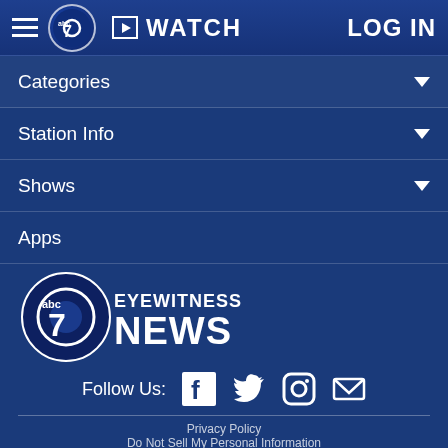WATCH    LOG IN
Categories
Station Info
Shows
Apps
[Figure (logo): ABC 7 Eyewitness News logo]
Follow Us:
Privacy Policy   Do Not Sell My Personal Information   Children's Privacy Policy   Your California Privacy Rights   Terms of Use   Interest-Based Ads   Public Inspection File